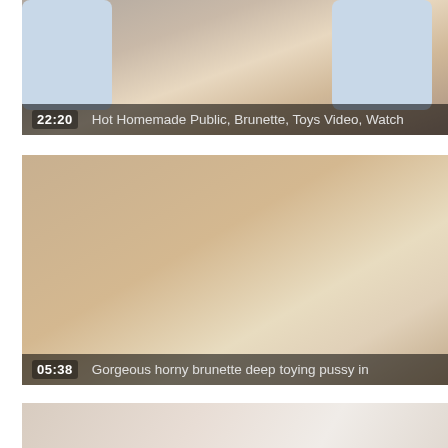[Figure (photo): Video thumbnail showing a woman on a couch holding a white object, with patterned pillows in background. Duration overlay reads 22:20. Title: Hot Homemade Public, Brunette, Toys Video, Watch]
[Figure (photo): Video thumbnail showing a woman posing on a white surface. Duration overlay reads 05:38. Title: Gorgeous horny brunette deep toying pussy in]
[Figure (photo): Video thumbnail partially visible at bottom, showing a woman's face near a marble or curtained background.]